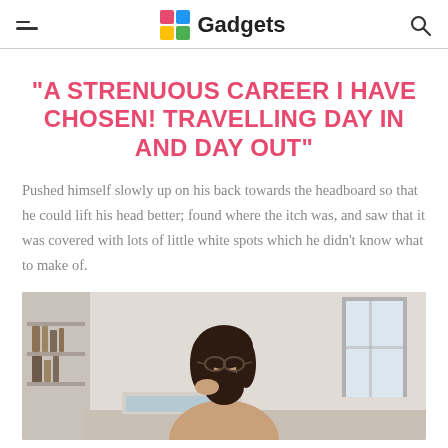Gadgets
“A STRENUOUS CAREER I HAVE CHOSEN! TRAVELLING DAY IN AND DAY OUT”
Pushed himself slowly up on his back towards the headboard so that he could lift his head better; found where the itch was, and saw that it was covered with lots of little white spots which he didn’t know what to make of.
[Figure (photo): Woman with glasses and dark hair, working at a desk, looking thoughtful, with shelves and a window in the background]